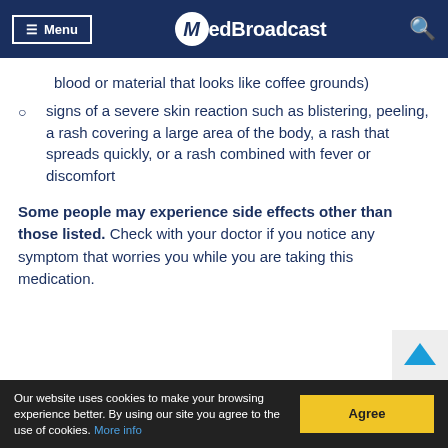Menu | MedBroadcast
blood or material that looks like coffee grounds)
signs of a severe skin reaction such as blistering, peeling, a rash covering a large area of the body, a rash that spreads quickly, or a rash combined with fever or discomfort
Some people may experience side effects other than those listed. Check with your doctor if you notice any symptom that worries you while you are taking this medication.
Our website uses cookies to make your browsing experience better. By using our site you agree to the use of cookies. More info | Agree